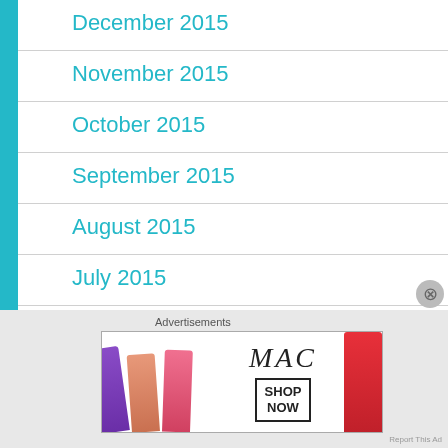December 2015
November 2015
October 2015
September 2015
August 2015
July 2015
June 2015
May 2015
Advertisements
[Figure (photo): MAC cosmetics advertisement banner showing colorful lipsticks with MAC logo and SHOP NOW button]